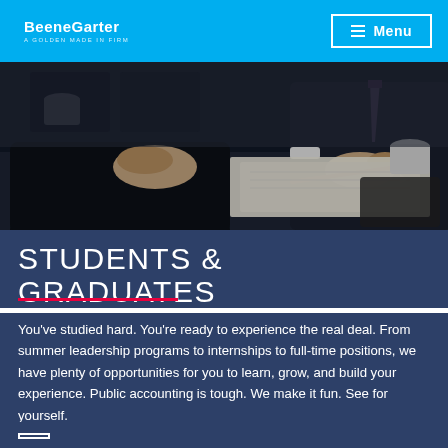BeeneGarter — A GOLDEN MADE IN FIRM — Menu
[Figure (photo): Two people at a desk in business meeting, one person writing with a red pencil on documents, another person with hands clasped]
STUDENTS & GRADUATES
You've studied hard. You're ready to experience the real deal. From summer leadership programs to internships to full-time positions, we have plenty of opportunities for you to learn, grow, and build your experience. Public accounting is tough. We make it fun. See for yourself.